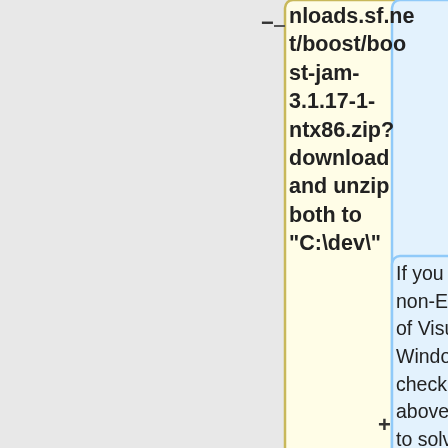[Figure (flowchart): Partial flowchart showing two nodes: a yellow box containing text about downloading and unzipping boost-jam-3.1.17-1-ntx86.zip to C:\dev\, connected with minus and plus symbols on its left and right sides. A blue box on the upper right is empty. A second blue box on the lower right contains text: 'If you are using a non-English version of Visual Studio on WindowsOS, Please check the page above. The best way to solve is' with a plus connector at the bottom.]